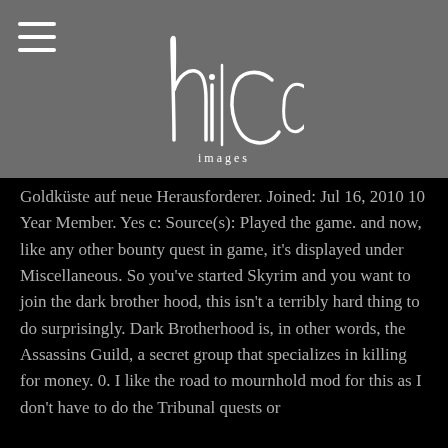[Figure (logo): MiCo Images handwritten logo in white on grey background]
Goldküste auf neue Herausforde rer. Joined: Jul 16, 2010 10 Year Member. Yes c: Source(s): Played the game. and now, like any other bounty quest in game, it's displayed under Miscellaneous. So you've started Skyrim and you want to join the dark brother hood, this isn't a terribly hard thing to do surprisingly. Dark Brotherhood is, in other words, the Assassins Guild, a secret group that specializes in killing for money. 0. I like the road to mournhold mod for this as I don't have to do the Tribunal quests or use the console to get it to main quest at